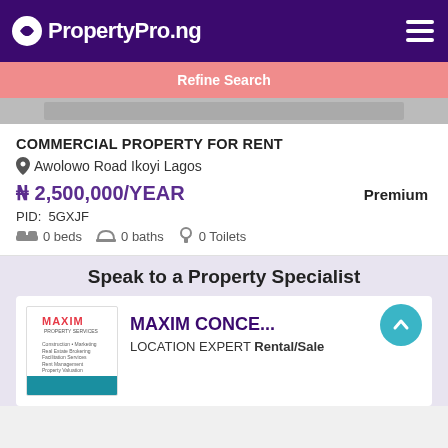PropertyPro.ng
Refine Search
COMMERCIAL PROPERTY FOR RENT
Awolowo Road Ikoyi Lagos
₦ 2,500,000/YEAR   Premium
PID: 5GXJF
0 beds   0 baths   0 Toilets
Speak to a Property Specialist
MAXIM CONCE...
LOCATION EXPERT Rental/Sale